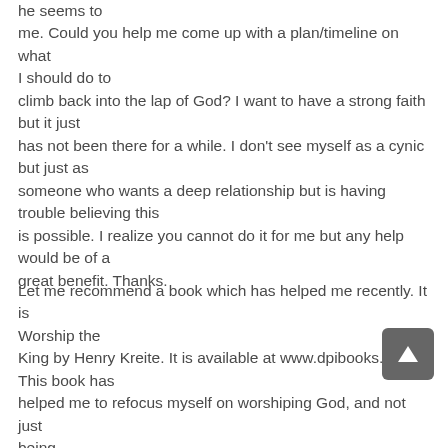he seems to me. Could you help me come up with a plan/timeline on what I should do to climb back into the lap of God? I want to have a strong faith but it just has not been there for a while. I don't see myself as a cynic but just as someone who wants a deep relationship but is having trouble believing this is possible. I realize you cannot do it for me but any help would be of a great benefit. Thanks.
Let me recommend a book which has helped me recently. It is Worship the King by Henry Kreite. It is available at www.dpibooks.org. This book has helped me to refocus myself on worshiping God, and not just being religious. As you hint in your question, I will not be able to